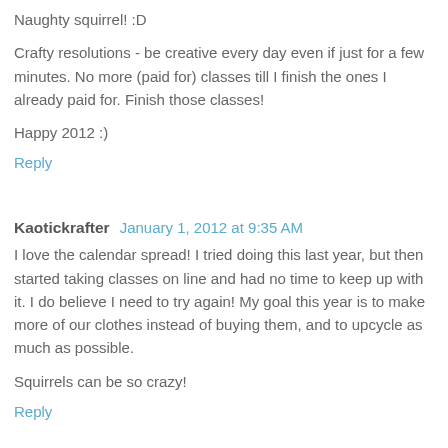Naughty squirrel! :D
Crafty resolutions - be creative every day even if just for a few minutes. No more (paid for) classes till I finish the ones I already paid for. Finish those classes!
Happy 2012 :)
Reply
Kaotickrafter  January 1, 2012 at 9:35 AM
I love the calendar spread! I tried doing this last year, but then started taking classes on line and had no time to keep up with it. I do believe I need to try again! My goal this year is to make more of our clothes instead of buying them, and to upcycle as much as possible.
Squirrels can be so crazy!
Reply